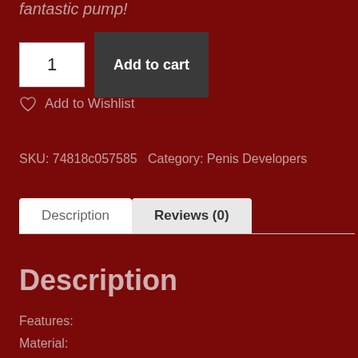fantastic pump!
1
Add to cart
Add to Wishlist
SKU: 74818c057585 Category: Penis Developers
Description
Reviews (0)
Description
Features:
Material:
Size:
Weight: 0.46
Diameter:
Length: